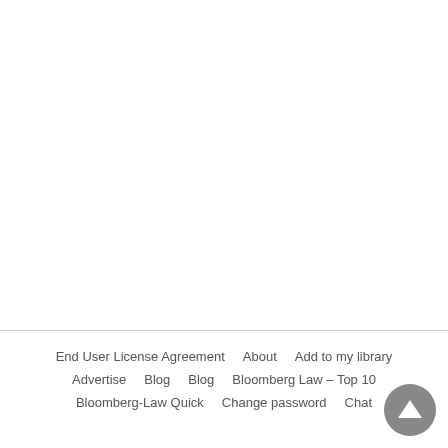End User License Agreement    About    Add to my library
Advertise    Blog    Blog    Bloomberg Law – Top 10
Bloomberg-Law Quick    Change password    Chat